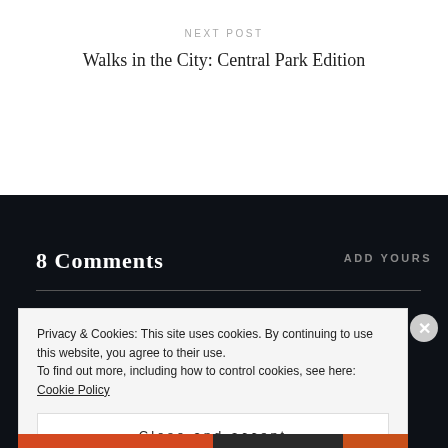NEXT POST
Walks in the City: Central Park Edition
8 Comments
ADD YOURS
Privacy & Cookies: This site uses cookies. By continuing to use this website, you agree to their use.
To find out more, including how to control cookies, see here: Cookie Policy
Close and accept